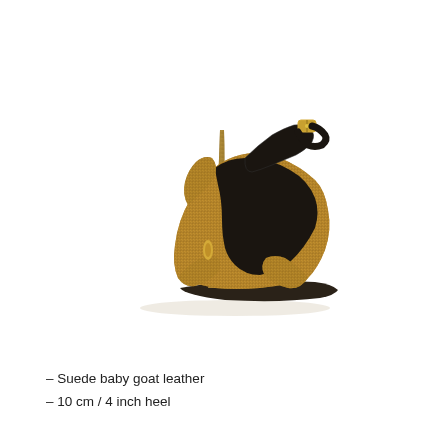[Figure (photo): A gold/bronze glitter high-heel strappy sandal with a stiletto heel approximately 10 cm / 4 inch, platform toe, cross-strap design, gold metal buckle and accent, black interior lining, shown in profile view against a white background.]
– Suede baby goat leather
– 10 cm / 4 inch heel